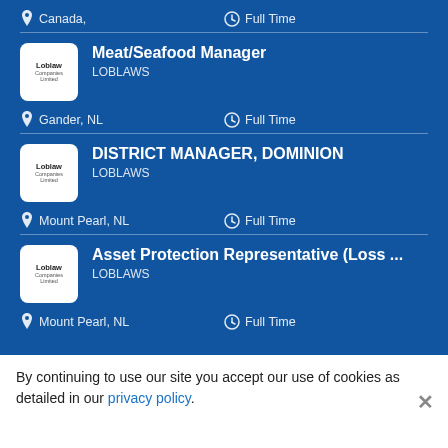Canada, | Full Time
Meat/Seafood Manager | LOBLAWS | Gander, NL | Full Time
DISTRICT MANAGER, DOMINION | LOBLAWS | Mount Pearl, NL | Full Time
Asset Protection Representative (Loss ... | LOBLAWS | Mount Pearl, NL | Full Time
By continuing to use our site you accept our use of cookies as detailed in our privacy policy.